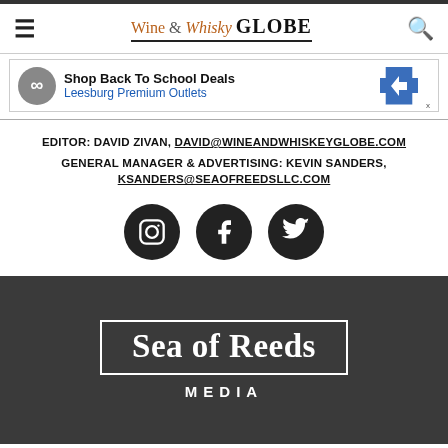Wine & Whisky GLOBE
[Figure (screenshot): Advertisement banner for Leesburg Premium Outlets - Shop Back To School Deals]
EDITOR: DAVID ZIVAN, DAVID@WINEANDWHISKEYGLOBE.COM
GENERAL MANAGER & ADVERTISING: KEVIN SANDERS, KSANDERS@SEAOFREEDSLLC.COM
[Figure (infographic): Social media icons row: Instagram, Facebook, Twitter (dark circles)]
[Figure (logo): Sea of Reeds MEDIA logo — white text on dark gray background with border box]